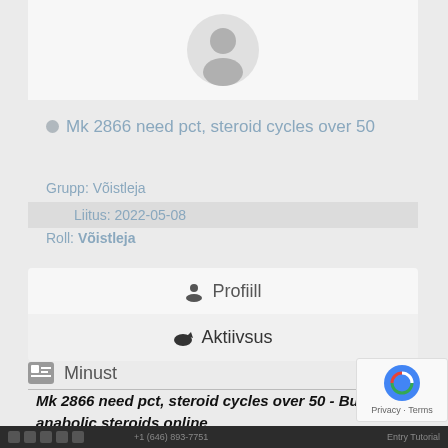[Figure (illustration): User profile avatar - grey silhouette of a person on light background]
Mk 2866 need pct, steroid cycles over 50
Grupp: Võistleja
Liitus: 2022-05-08
Roll: Võistleja
Profiill
Aktiivsus
Minust
Mk 2866 need pct, steroid cycles over 50 - Buy anabolic steroids online
Footer bar with social icons and phone number